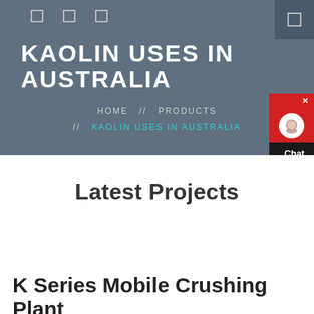KAOLIN USES IN AUSTRALIA
KAOLIN USES IN AUSTRALIA
HOME // PRODUCTS // KAOLIN USES IN AUSTRALIA
Latest Projects
K Series Mobile Crushing Plant